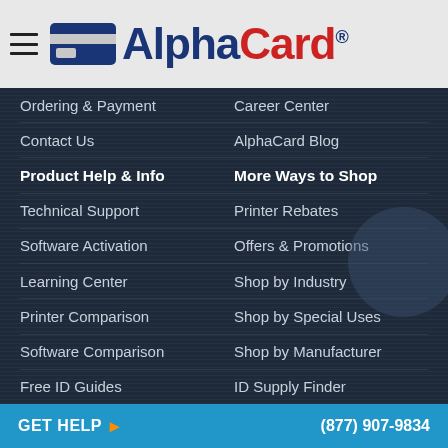AlphaCard® logo with hamburger menu
Ordering & Payment
Career Center
Contact Us
AlphaCard Blog
Product Help & Info
More Ways to Shop
Technical Support
Printer Rebates
Software Activation
Offers & Promotions
Learning Center
Shop by Industry
Printer Comparison
Shop by Special Uses
Software Comparison
Shop by Manufacturer
Free ID Guides
ID Supply Finder
GET HELP ▶    (877) 907-9834